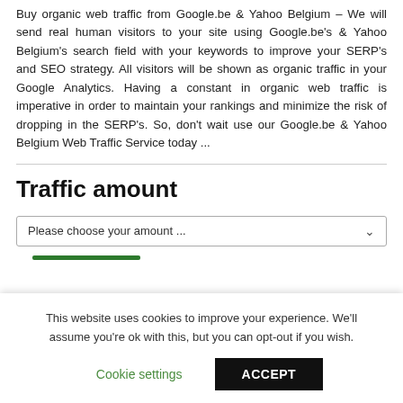Buy organic web traffic from Google.be & Yahoo Belgium – We will send real human visitors to your site using Google.be's & Yahoo Belgium's search field with your keywords to improve your SERP's and SEO strategy. All visitors will be shown as organic traffic in your Google Analytics. Having a constant in organic web traffic is imperative in order to maintain your rankings and minimize the risk of dropping in the SERP's. So, don't wait use our Google.be & Yahoo Belgium Web Traffic Service today ...
Traffic amount
[Figure (screenshot): Dropdown selector with placeholder text 'Please choose your amount ...' and a green progress bar below]
This website uses cookies to improve your experience. We'll assume you're ok with this, but you can opt-out if you wish.